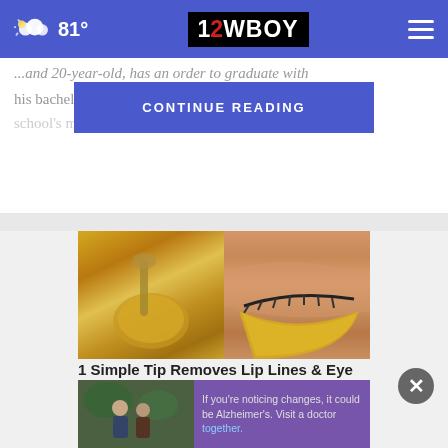81° | 12WBOY
...and 20-year-old, has an order to graduate with his bachelor's degree... was named the school's male... year.
CONTINUE READING
[Figure (photo): Two-panel image: left panel shows golden liquid/oil on a spoon, right panel shows a golden under-eye patch applied beneath a closed eye with lashes]
1 Simple Tip Removes Lip Lines & Eye Bags (Do This Tonight)
[Figure (photo): Bottom advertisement banner: left side shows two men outdoors, right side purple background with text about Alzheimer's awareness]